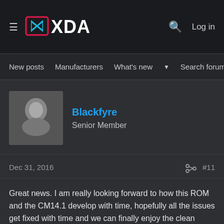XDA — New posts | Manufacturers | What's new | Search forums | Members
Blackfyre
Senior Member
Dec 31, 2016  #11
Great news. I am really looking forward to how this ROM and the CM14.1 develop with time, hopefully all the issues get fixed with time and we can finally enjoy the clean stock google experience on this amazing phone.
W8 BEN FORM
Ad | An AMG Site
Recognized Developer